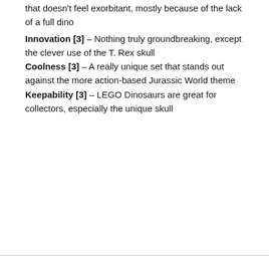that doesn't feel exorbitant, mostly because of the lack of a full dino
Innovation [3] – Nothing truly groundbreaking, except the clever use of the T. Rex skull
Coolness [3] – A really unique set that stands out against the more action-based Jurassic World theme
Keepability [3] – LEGO Dinosaurs are great for collectors, especially the unique skull